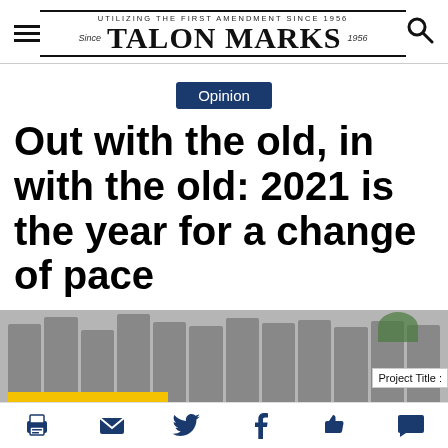UTILIZING THE FIRST AMENDMENT SINCE 1956 | Since | TALON MARKS | 1956
Opinion
Out with the old, in with the old: 2021 is the year for a change of pace
[Figure (photo): Grey vertical metal bars or panels with a yellow strip at the bottom and a 'Project Title' label visible on the right side.]
Social sharing toolbar: print, email, twitter, facebook, like, comment